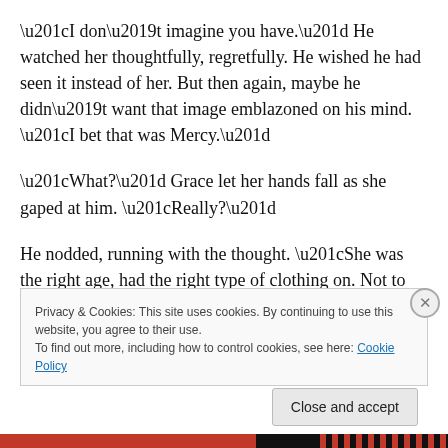“I don’t imagine you have.” He watched her thoughtfully, regretfully. He wished he had seen it instead of her. But then again, maybe he didn’t want that image emblazoned on his mind. “I bet that was Mercy.”
“What?” Grace let her hands fall as she gaped at him. “Really?”
He nodded, running with the thought. “She was the right age, had the right type of clothing on. Not to mention the blood.”
Privacy & Cookies: This site uses cookies. By continuing to use this website, you agree to their use.
To find out more, including how to control cookies, see here: Cookie Policy